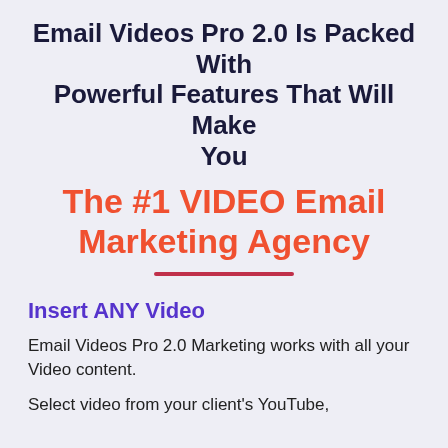Email Videos Pro 2.0 Is Packed With Powerful Features That Will Make You
The #1 VIDEO Email Marketing Agency
Insert ANY Video
Email Videos Pro 2.0 Marketing works with all your Video content.
Select video from your client's YouTube,